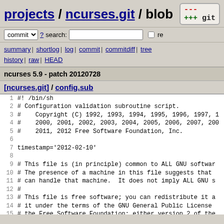projects / ncurses.git / blob
ncurses 5.9 - patch 20120728
[ncurses.git] / config.sub
[Figure (screenshot): Git web interface showing source code blob view of config.sub from ncurses.git repository]
1  #! /bin/sh
2  # Configuration validation subroutine script.
3  #    Copyright (C) 1992, 1993, 1994, 1995, 1996, 1997, 1...
4  #    2000, 2001, 2002, 2003, 2004, 2005, 2006, 2007, 200...
5  #    2011, 2012 Free Software Foundation, Inc.
6
7  timestamp='2012-02-10'
8
9  # This file is (in principle) common to ALL GNU softwar...
10 # The presence of a machine in this file suggests that...
11 # can handle that machine.  It does not imply ALL GNU s...
12 #
13 # This file is free software; you can redistribute it a...
14 # it under the terms of the GNU General Public License...
15 # the Free Software Foundation; either version 2 of the...
16 # (at your option) any later version.
17 #
18 # This program is distributed in the hope that it will...
19 # but WITHOUT ANY WARRANTY; without even the implied wa...